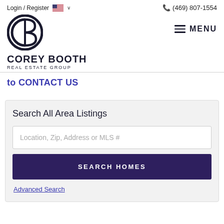Login / Register   🇺🇸 ∨   (469) 807-1554
[Figure (logo): Corey Booth Real Estate Group logo: circular CB monogram in black, with brand name COREY BOOTH / REAL ESTATE GROUP below]
≡ MENU
to CONTACT US
Search All Area Listings
Location, Zip, Address or MLS #
SEARCH HOMES
Advanced Search